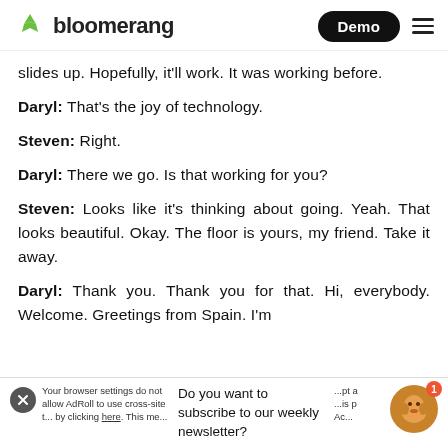bloomerang | Demo
slides up. Hopefully, it'll work. It was working before.
Daryl: That's the joy of technology.
Steven: Right.
Daryl: There we go. Is that working for you?
Steven: Looks like it's thinking about going. Yeah. That looks beautiful. Okay. The floor is yours, my friend. Take it away.
Daryl: Thank you. Thank you for that. Hi, everybody. Welcome. Greetings from Spain. I'm going to...
Do you want to subscribe to our weekly newsletter?